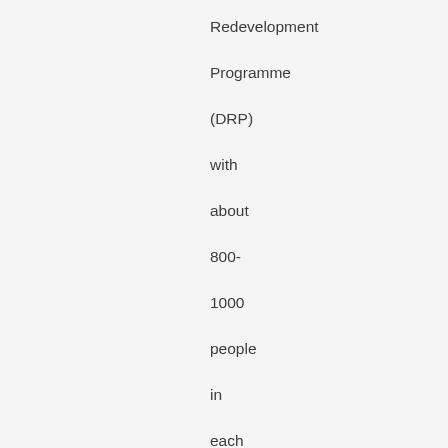Redevelopment Programme (DRP) with about 800-1000 people in each of the meeting between 8th January, 2011 to 16th January, 2011. PROUD also